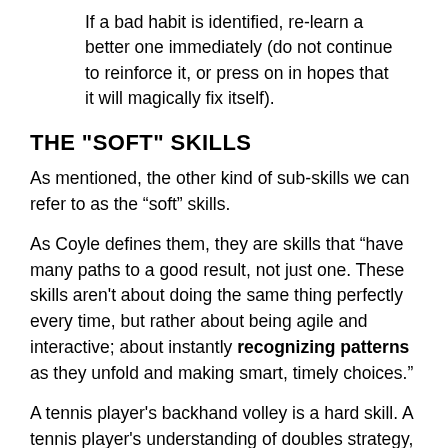If a bad habit is identified, re-learn a better one immediately (do not continue to reinforce it, or press on in hopes that it will magically fix itself).
THE "SOFT" SKILLS
As mentioned, the other kind of sub-skills we can refer to as the “soft” skills.
As Coyle defines them, they are skills that “have many paths to a good result, not just one. These skills aren't about doing the same thing perfectly every time, but rather about being agile and interactive; about instantly recognizing patterns as they unfold and making smart, timely choices.”
A tennis player's backhand volley is a hard skill. A tennis player's understanding of doubles strategy, along with when, where, and how to deploy the backhand volley, is a